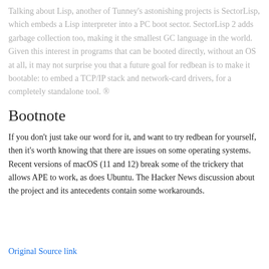Talking about Lisp, another of Tunney's astonishing projects is SectorLisp, which embeds a Lisp interpreter into a PC boot sector. SectorLisp 2 adds garbage collection too, making it the smallest GC language in the world. Given this interest in programs that can be booted directly, without an OS at all, it may not surprise you that a future goal for redbean is to make it bootable: to embed a TCP/IP stack and network-card drivers, for a completely standalone tool. ®
Bootnote
If you don't just take our word for it, and want to try redbean for yourself, then it's worth knowing that there are issues on some operating systems. Recent versions of macOS (11 and 12) break some of the trickery that allows APE to work, as does Ubuntu. The Hacker News discussion about the project and its antecedents contain some workarounds.
Original Source link